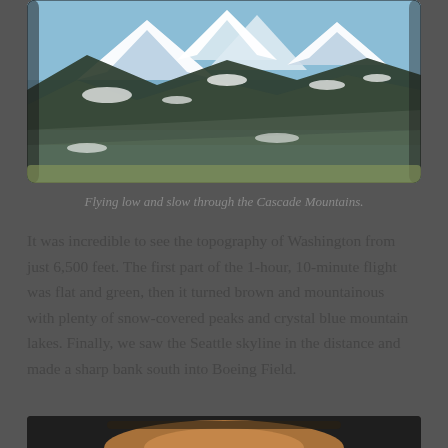[Figure (photo): View through an airplane window of snow-covered Cascade Mountains peaks with dark green forested slopes and blue sky, taken from low altitude approximately 6,500 feet.]
Flying low and slow through the Cascade Mountains.
It was incredible to see the topography of Washington from just 6,500 feet. The first part of the 1-hour, 10-minute flight was flat and green, then it turned brown and mountainous with plenty of snow-covered peaks and crystal blue mountain lakes. Finally, we saw the Seattle skyline in the distance and made a sharp bank south into Boeing Field.
[Figure (photo): Partial view of what appears to be an airplane engine or nose, dark tones, at the bottom of the page.]